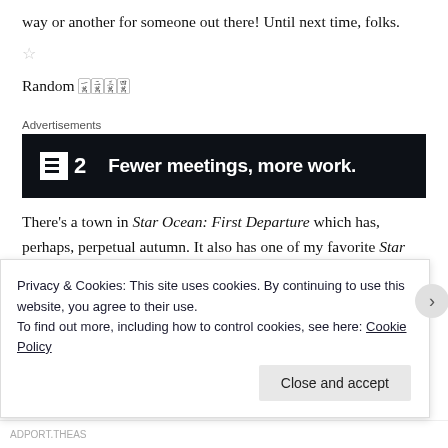way or another for someone out there! Until next time, folks.
☆
Random 🀇🀈🀉🀊
Advertisements
[Figure (other): Advertisement banner: dark background with logo showing a checklist icon and '2', tagline 'Fewer meetings, more work.']
There's a town in Star Ocean: First Departure which has, perhaps, perpetual autumn. It also has one of my favorite Star Ocean tracks ever, namely "Sweet
Privacy & Cookies: This site uses cookies. By continuing to use this website, you agree to their use.
To find out more, including how to control cookies, see here: Cookie Policy
Close and accept